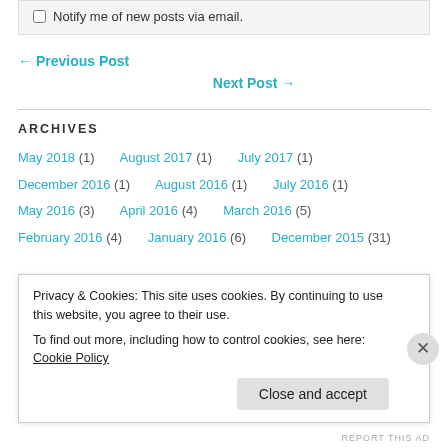Notify me of new posts via email.
← Previous Post
Next Post →
ARCHIVES
May 2018 (1)   August 2017 (1)   July 2017 (1)
December 2016 (1)   August 2016 (1)   July 2016 (1)
May 2016 (3)   April 2016 (4)   March 2016 (5)
February 2016 (4)   January 2016 (6)   December 2015 (31)
Privacy & Cookies: This site uses cookies. By continuing to use this website, you agree to their use. To find out more, including how to control cookies, see here: Cookie Policy
Close and accept